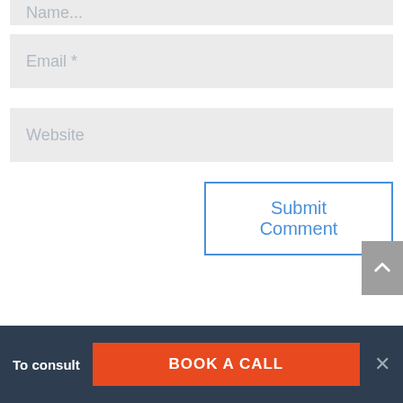[Figure (screenshot): Partially visible form input field for Name at the top of the page]
[Figure (screenshot): Form input field with placeholder text 'Email *']
[Figure (screenshot): Form input field with placeholder text 'Website']
[Figure (screenshot): Submit Comment button with blue border and blue text]
[Figure (screenshot): Gray scroll-to-top button with upward chevron arrow on the right side]
[Figure (screenshot): Dark footer bar with 'To consult' text, orange 'BOOK A CALL' button, and X close button]